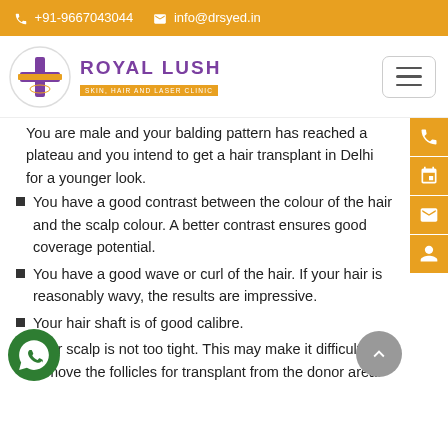+91-9667043044   info@drsyed.in
[Figure (logo): Royal Lush Skin, Hair and Laser Clinic logo with purple cross icon in circle and hamburger menu button]
You are male and your balding pattern has reached a plateau and you intend to get a hair transplant in Delhi for a younger look.
You have a good contrast between the colour of the hair and the scalp colour. A better contrast ensures good coverage potential.
You have a good wave or curl of the hair. If your hair is reasonably wavy, the results are impressive.
Your hair shaft is of good calibre.
Your scalp is not too tight. This may make it difficult to remove the follicles for transplant from the donor area.